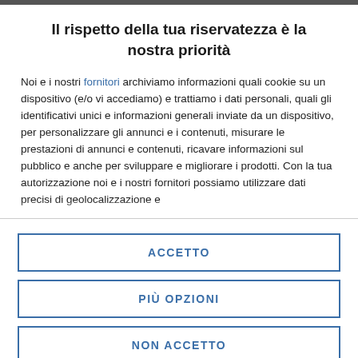Il rispetto della tua riservatezza è la nostra priorità
Noi e i nostri fornitori archiviamo informazioni quali cookie su un dispositivo (e/o vi accediamo) e trattiamo i dati personali, quali gli identificativi unici e informazioni generali inviate da un dispositivo, per personalizzare gli annunci e i contenuti, misurare le prestazioni di annunci e contenuti, ricavare informazioni sul pubblico e anche per sviluppare e migliorare i prodotti. Con la tua autorizzazione noi e i nostri fornitori possiamo utilizzare dati precisi di geolocalizzazione e identificazione attraverso le caratteristiche del dispositivo. Per favore di...
ACCETTO
PIÙ OPZIONI
NON ACCETTO